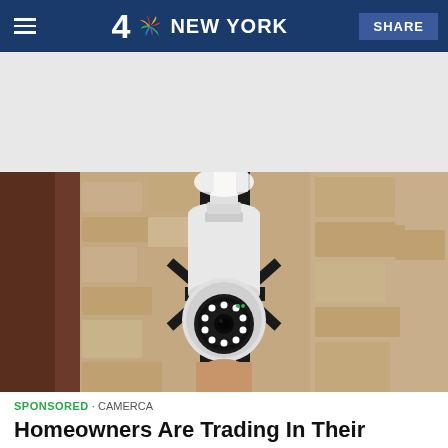4 NBC NEW YORK  SHARE
[Figure (photo): A white security camera shaped like a light bulb screw-in form factor, mounted in a black outdoor lantern fixture against a rough stone wall. The camera has a circular ring of LED lights on its face and a lens visible in the center.]
SPONSORED · CAMERCA
Homeowners Are Trading In Their Doorbell Cams For This